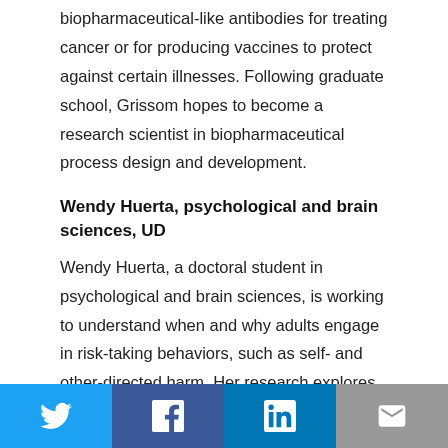biopharmaceutical-like antibodies for treating cancer or for producing vaccines to protect against certain illnesses. Following graduate school, Grissom hopes to become a research scientist in biopharmaceutical process design and development.
Wendy Huerta, psychological and brain sciences, UD
Wendy Huerta, a doctoral student in psychological and brain sciences, is working to understand when and why adults engage in risk-taking behaviors, such as self- and other-directed harm. Her research explores how situations that induce high levels of arousal (i.e., thrilling or anger-inducing events) can impair an individual's ability to suppress impulsivity. Advised by
Twitter | Facebook | LinkedIn | Email